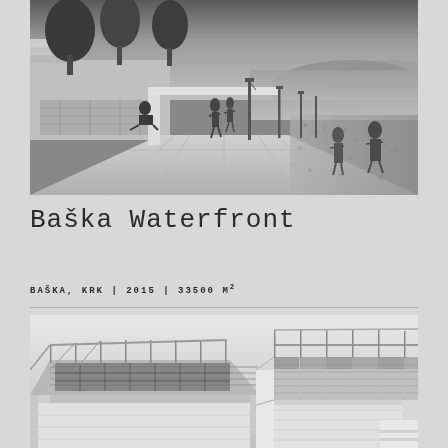[Figure (photo): Black and white architectural rendering of Baška Waterfront promenade showing wide pedestrian walkway with trees on left, lamp posts along the seafront, and people walking. Sea and mountains visible in background.]
Baška Waterfront
BAŠKA, KRK | 2015 | 33500 M²
[Figure (photo): Black and white architectural model/rendering showing a stepped terrace structure with railings, viewed from an angle above. Two sections visible side by side.]